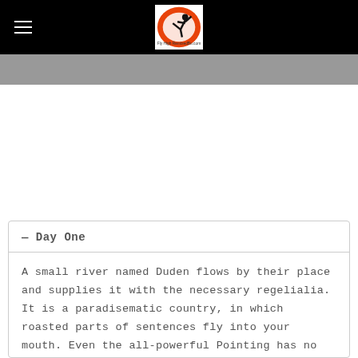Fly High RemixedBu.com
— Day One
A small river named Duden flows by their place and supplies it with the necessary regelialia. It is a paradisematic country, in which roasted parts of sentences fly into your mouth. Even the all-powerful Pointing has no control about the blind